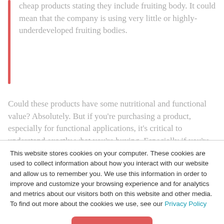cheap products stating they include fruiting body. It could mean that the company is using very little or highly-underdeveloped fruiting bodies.
Could these products have some nutritional and functional value? Absolutely. But if you're purchasing a product, especially for functional applications, it's critical to understand exactly what you're buying. Especially if you're hoping to use medicinal mushrooms for a specific treatment plan.
This website stores cookies on your computer. These cookies are used to collect information about how you interact with our website and allow us to remember you. We use this information in order to improve and customize your browsing experience and for analytics and metrics about our visitors both on this website and other media. To find out more about the cookies we use, see our Privacy Policy
Accept